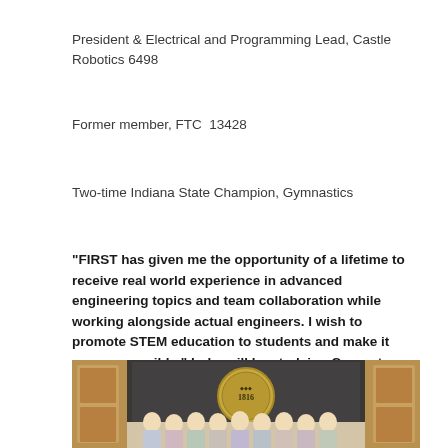President & Electrical and Programming Lead, Castle Robotics 6498
Former member, FTC  13428
Two-time Indiana State Champion, Gymnastics
“FIRST has given me the opportunity of a lifetime to receive real world experience in advanced engineering topics and team collaboration while working alongside actual engineers. I wish to promote STEM education to students and make it more accessible.” Luke will be studying Computer Engineering.
[Figure (photo): Group photo of students standing in front of Indiana State Seal (1816) in what appears to be a government chamber with wooden paneling and marble backdrop]